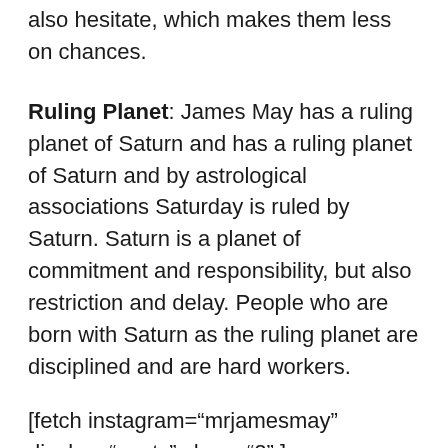also hesitate, which makes them less on chances.
Ruling Planet: James May has a ruling planet of Saturn and has a ruling planet of Saturn and by astrological associations Saturday is ruled by Saturn. Saturn is a planet of commitment and responsibility, but also restriction and delay. People who are born with Saturn as the ruling planet are disciplined and are hard workers.
[fetch instagram="mrjamesmay" display="posts" show="2" ]